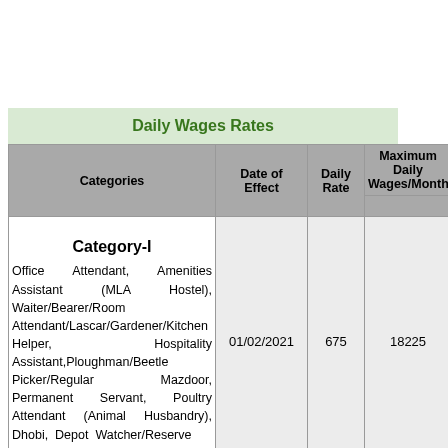Daily Wages Rates
| Categories | Date of Effect | Daily Rate | Maximum Daily Wages/Month | P |
| --- | --- | --- | --- | --- |
| Category-I

Office Attendant, Amenities Assistant (MLA Hostel), Waiter/Bearer/Room Attendant/Lascar/Gardener/Kitchen Helper, Hospitality Assistant,Ploughman/Beetle Picker/Regular Mazdoor, Permanent Servant, Poultry Attendant (Animal Husbandry), Dhobi, Depot Watcher/Reserve | 01/02/2021 | 675 | 18225 |  |